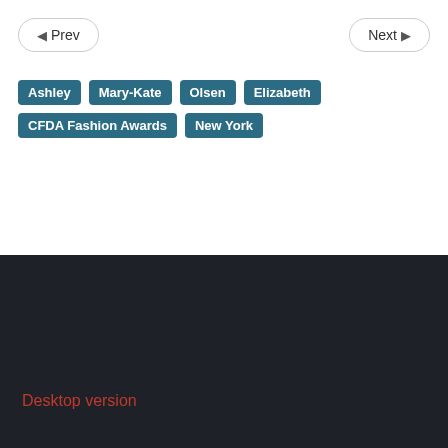< Prev
Next >
Ashley
Mary-Kate
Olsen
Elizabeth
CFDA Fashion Awards
New York
Desktop version